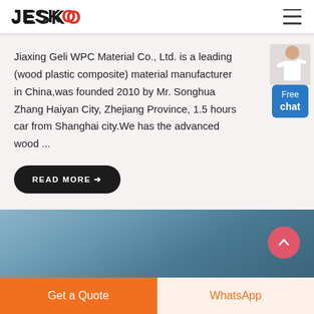JESCO
Jiaxing Geli WPC Material Co., Ltd. is a leading (wood plastic composite) material manufacturer in China,was founded 2010 by Mr. Songhua Zhang Haiyan City, Zhejiang Province, 1.5 hours car from Shanghai city.We has the advanced wood ...
[Figure (screenshot): Outdoor/landscape photo section with blue-gray sky background and a back-to-top button (pink circle with upward arrow)]
Get a Quote | WhatsApp